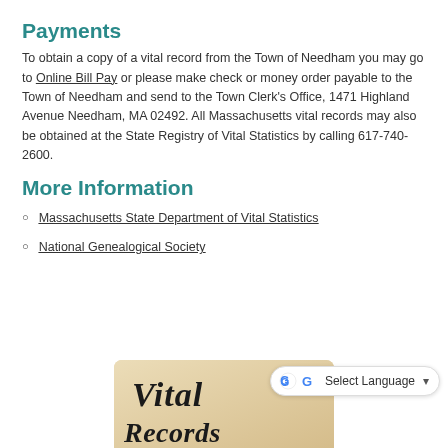Payments
To obtain a copy of a vital record from the Town of Needham you may go to Online Bill Pay or please make check or money order payable to the Town of Needham and send to the Town Clerk's Office, 1471 Highland Avenue Needham, MA 02492. All Massachusetts vital records may also be obtained at the State Registry of Vital Statistics by calling 617-740-2600.
More Information
Massachusetts State Department of Vital Statistics
National Genealogical Society
[Figure (photo): Partial image of a document or scroll with the text 'Vital Records' in italic serif font, shown from below the page fold. A Google Translate widget overlays the bottom right corner.]